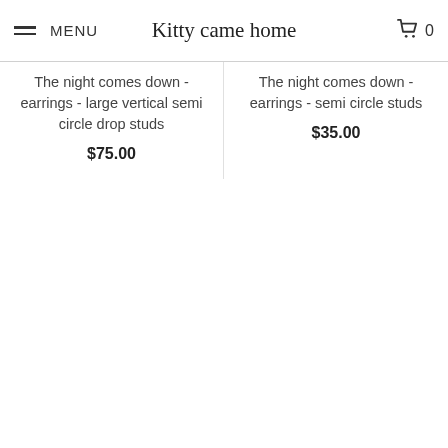MENU | Kitty came home | 0
The night comes down - earrings - large vertical semi circle drop studs
$75.00
The night comes down - earrings - semi circle studs
$35.00